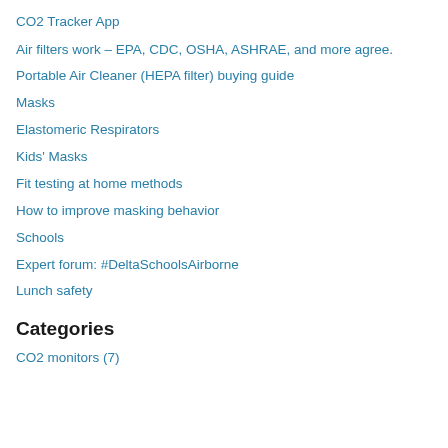CO2 Tracker App
Air filters work – EPA, CDC, OSHA, ASHRAE, and more agree.
Portable Air Cleaner (HEPA filter) buying guide
Masks
Elastomeric Respirators
Kids' Masks
Fit testing at home methods
How to improve masking behavior
Schools
Expert forum: #DeltaSchoolsAirborne
Lunch safety
Categories
CO2 monitors (7)